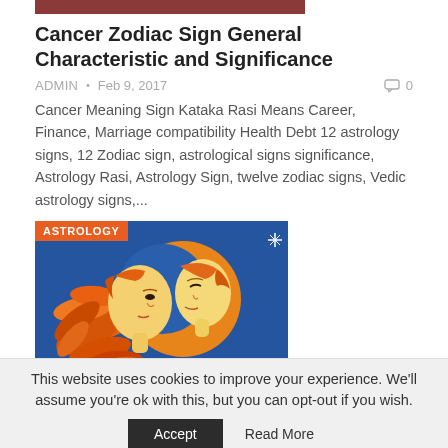[Figure (illustration): Dark red/brown horizontal bar at top of page, partial/cropped]
Cancer Zodiac Sign General Characteristic and Significance
ADMIN • Feb 9, 2017   0
Cancer Meaning Sign Kataka Rasi Means Career, Finance, Marriage compatibility Health Debt 12 astrology signs, 12 Zodiac sign, astrological signs significance, Astrology Rasi, Astrology Sign, twelve zodiac signs, Vedic astrology signs,...
[Figure (illustration): Astrology illustration showing two female faces in profile with orange flowing hair against a blue background, with an orange crescent moon shape. Tagged with 'ASTROLOGY' label in orange.]
This website uses cookies to improve your experience. We'll assume you're ok with this, but you can opt-out if you wish.
Accept   Read More